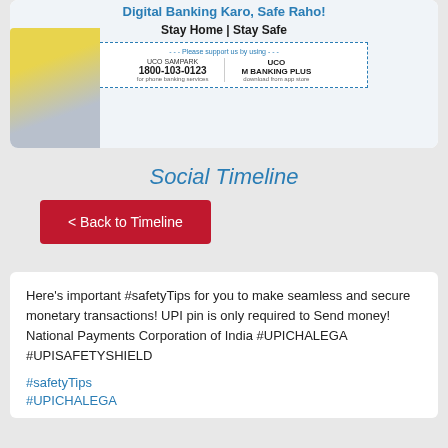[Figure (illustration): UCO Bank digital banking advertisement banner showing a woman in yellow sweater sitting on sofa using mobile phone and laptop. Text reads 'Digital Banking Karo, Safe Raho! Stay Home | Stay Safe'. Below is a dashed box with UCO Sampark 1800-103-0123 for phone banking services and UCO M Banking Plus download from app store.]
Social Timeline
< Back to Timeline
Here's important #safetyTips for you to make seamless and secure monetary transactions! UPI pin is only required to Send money! National Payments Corporation of India #UPICHALEGA #UPISAFETYSHIELD
#safetyTips
#UPICHALEGA